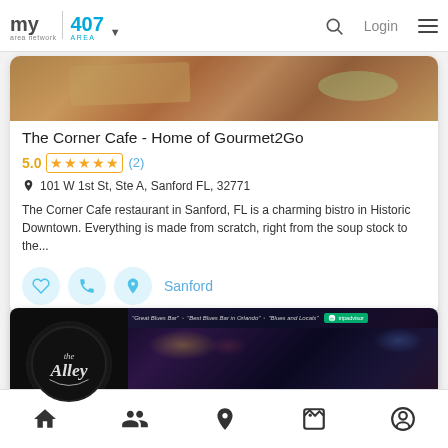my area network | 407 AREA | Login
[Figure (photo): Food photo - sandwich/burger close-up, warm tones]
The Corner Cafe - Home of Gourmet2Go
5.0 ★★★★★ (2)
101 W 1st St, Ste A, Sanford FL, 32771
The Corner Cafe restaurant in Sanford, FL is a charming bistro in Historic Downtown. Everything is made from scratch, right from the soup stock to the...
Sanford
[Figure (photo): The Alley bar logo and interior scene with crowd and stage lighting, TripAdvisor badge with quotes: Great Blues Bar, Best Blues Bar in Orlando, Blues and Locals]
Home | People | Location | Gallery | Profile